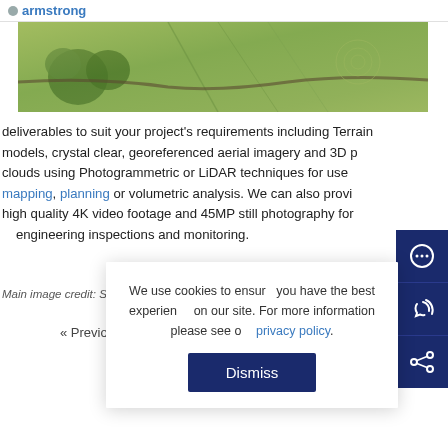armstrong
[Figure (photo): Aerial photograph of green countryside fields with trees and a road]
deliverables to suit your project's requirements including Terrain models, crystal clear, georeferenced aerial imagery and 3D point clouds using Photogrammetric or LiDAR techniques for use in mapping, planning or volumetric analysis. We can also provide high quality 4K video footage and 45MP still photography for engineering inspections and monitoring.
Main image credit: SR Williams
« Previous article
We use cookies to ensure you have the best experience on our site. For more information please see our privacy policy.
Dismiss